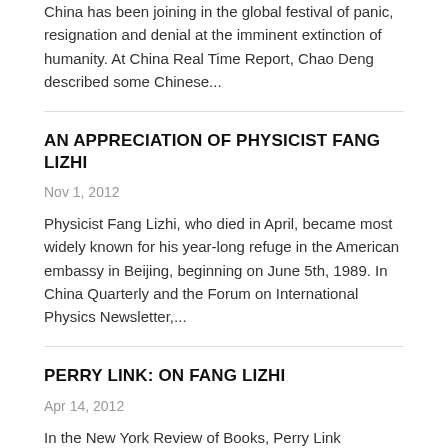China has been joining in the global festival of panic, resignation and denial at the imminent extinction of humanity. At China Real Time Report, Chao Deng described some Chinese...
AN APPRECIATION OF PHYSICIST FANG LIZHI
Nov 1, 2012
Physicist Fang Lizhi, who died in April, became most widely known for his year-long refuge in the American embassy in Beijing, beginning on June 5th, 1989. In China Quarterly and the Forum on International Physics Newsletter,...
PERRY LINK: ON FANG LIZHI
Apr 14, 2012
In the New York Review of Books, Perry Link